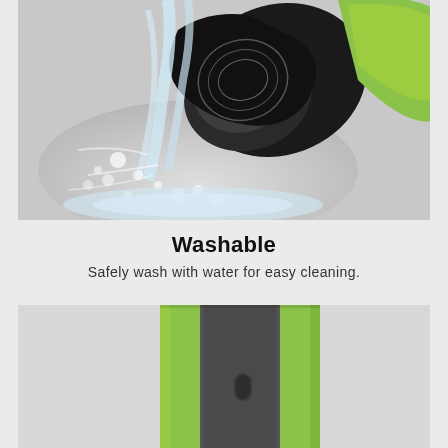[Figure (photo): Close-up photo of a lime-green and black electric shaver/razor being rinsed under a strong stream of water, with water splashing and bubbles visible]
Washable
Safely wash with water for easy cleaning.
[Figure (photo): Close-up photo of the handle of a lime-green and dark grey electric shaver, showing the body/grip area with a small button or indicator]